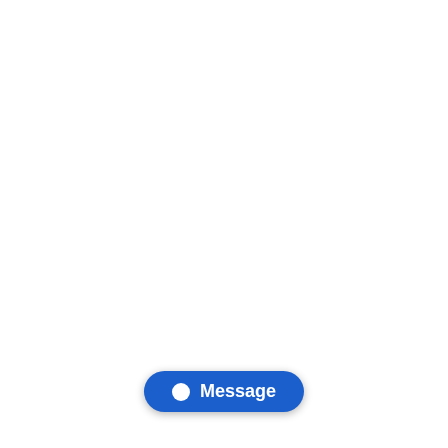| Product Code | Connector Type |
| --- | --- |
| ATSEFSCMT105M | MTRJ-S |
| ATSEFSCMT106M | MTRJ-S |
| ATSEFSCMT107M | MTRJ-S |
| ATSEFSCMT108M | MTRJ-S |
| ATSEFSCMT109M | MTRJ-S |
| ATSEFSCMT110M | MTRJ-S |
| ATSEFSCMT111M | MTRJ-S |
| ATSEFSCMT112M | MTRJ-S |
| ATSEFSCMT113M | MTRJ-S |
| ATSEFSCMT114M | MTRJ-S |
| ATSEFSCMT115M | MTRJ-S |
| ATSEFSCMT120M | MTRJ-S |
| ATSEFSCMT125M | MTRJ-S |
| ATSEFSCMT130M | MTRJ-S |
| ATSEFSCMT135M | MTRJ-S |
| ATSEFSCMT145M | MTRJ-S |
| ATSEFSCMT145M | MTRJ-S |
| ATSEFSCMT150M | MTRJ-S |
| ATSEFSCMT160M | MTRJ-S |